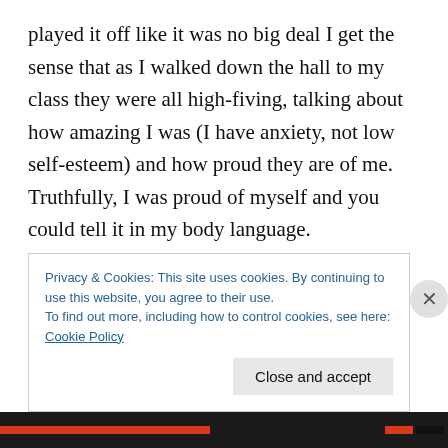played it off like it was no big deal I get the sense that as I walked down the hall to my class they were all high-fiving, talking about how amazing I was (I have anxiety, not low self-esteem) and how proud they are of me. Truthfully, I was proud of myself and you could tell it in my body language.

That was just the first great part of the day. In PE we played baseball and I was one of the few kids that was able to hit the ball when it was pitched to me opposed to setting it up on a tee. Now I started rounding the bases
Privacy & Cookies: This site uses cookies. By continuing to use this website, you agree to their use.
To find out more, including how to control cookies, see here: Cookie Policy
Close and accept